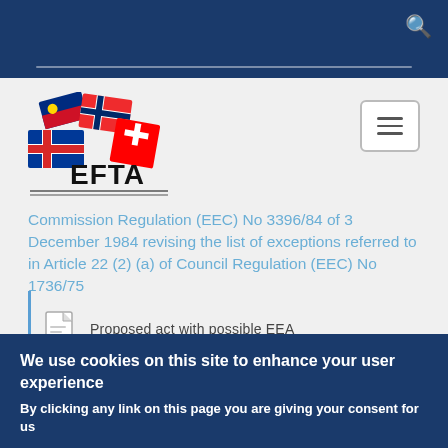[Figure (logo): EFTA logo with four national flags (Liechtenstein, Norway, Iceland, Switzerland) above the text EFTA]
Commission Regulation (EEC) No 3396/84 of 3 December 1984 revising the list of exceptions referred to in Article 22 (2) (a) of Council Regulation (EEC) No 1736/75
Proposed act with possible EEA
We use cookies on this site to enhance your user experience
By clicking any link on this page you are giving your consent for us